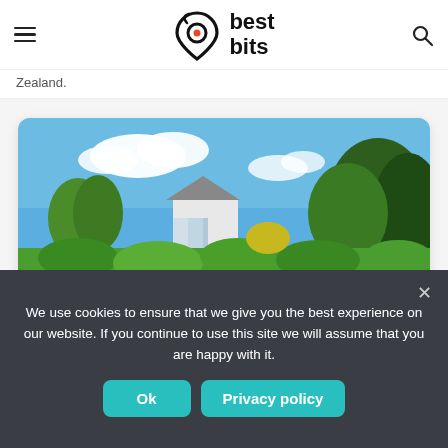best bits – navigation header with logo, hamburger menu, and search icon
Zealand.
[Figure (photo): Outdoor landscape photo showing a white cottage house surrounded by lush green garden, trees, under a bright blue sky with white clouds.]
We use cookies to ensure that we give you the best experience on our website. If you continue to use this site we will assume that you are happy with it.